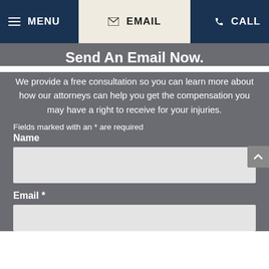MENU  EMAIL  CALL
Send An Email Now.
We provide a free consultation so you can learn more about how our attorneys can help you get the compensation you may have a right to receive for your injuries.
Fields marked with an * are required
Name
Email *